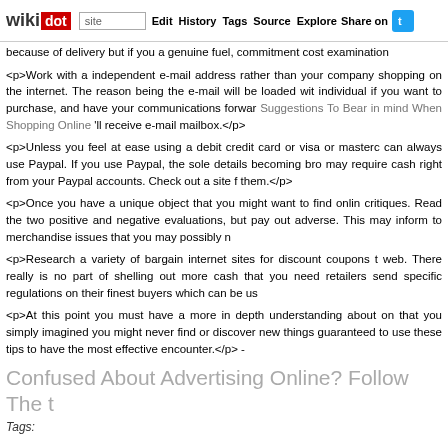wikidot | site Edit History Tags Source Explore Share on Twitter
because of delivery but if you a genuine fuel, commitment cost examination
<p>Work with a independent e-mail address rather than your company shopping on the internet. The reason being the e-mail will be loaded with individual if you want to purchase, and have your communications forward Suggestions To Bear in mind When Shopping Online 'll receive e-mail mailbox.</p>
<p>Unless you feel at ease using a debit credit card or visa or masterca can always use Paypal. If you use Paypal, the sole details becoming brou may require cash right from your Paypal accounts. Check out a site fo them.</p>
<p>Once you have a unique object that you might want to find online critiques. Read the two positive and negative evaluations, but pay out adverse. This may inform to merchandise issues that you may possibly no</p>
<p>Research a variety of bargain internet sites for discount coupons th web. There really is no part of shelling out more cash that you need retailers send specific regulations on their finest buyers which can be use</p>
<p>At this point you must have a more in depth understanding about onl that you simply imagined you might never find or discover new things y guaranteed to use these tips to have the most effective encounter.</p> -
Confused About Advertising Online? Follow The T
Tags: